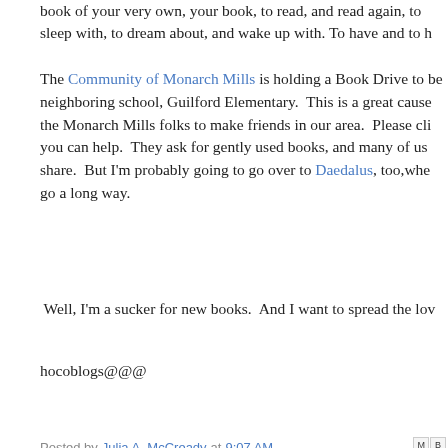book of your very own, your book, to read, and read again, to sleep with, to dream about, and wake up with. To have and to h
The Community of Monarch Mills is holding a Book Drive to be neighboring school, Guilford Elementary. This is a great cause the Monarch Mills folks to make friends in our area. Please cli you can help. They ask for gently used books, and many of us share. But I'm probably going to go over to Daedalus, too,whe go a long way.
Well, I'm a sucker for new books. And I want to spread the lov
hocoblogs@@@
Posted by Julia A. McCready at 9:07 AM
FRIDAY, AUGUST 17, 2012
Sometimes A Bunny Is Just A Bunny